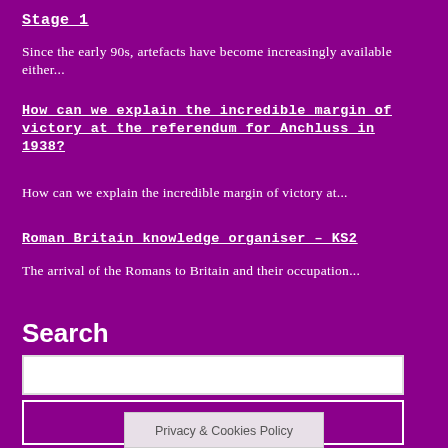Stage 1
Since the early 90s, artefacts have become increasingly available either...
How can we explain the incredible margin of victory at the referendum for Anchluss in 1938?
How can we explain the incredible margin of victory at...
Roman Britain knowledge organiser – KS2
The arrival of the Romans to Britain and their occupation...
Search
Privacy & Cookies Policy